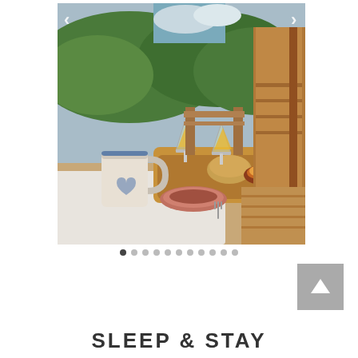[Figure (photo): Outdoor breakfast table on a wooden deck with orange juice glasses, ceramic pitcher, bread, and pastries. Green hillside and trees visible in background.]
SLEEP & STAY